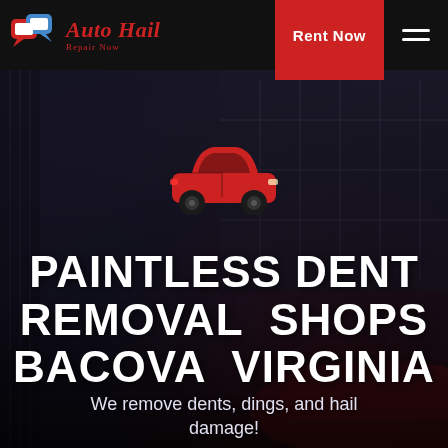Auto Hail Repair Now — Rent Now
[Figure (screenshot): Website screenshot showing Auto Hail Repair Now page header with logo, Rent Now button, hamburger menu, and hero section with red car icon, PAINTLESS DENT REMOVAL SHOPS BACOVA VIRGINIA heading, and subtext over dark car background]
PAINTLESS DENT REMOVAL SHOPS BACOVA VIRGINIA
We remove dents, dings, and hail damage!